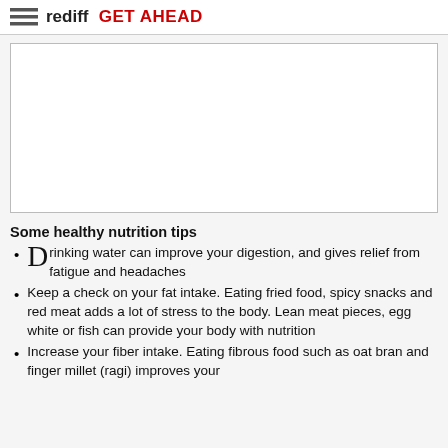rediff GET AHEAD
[Figure (other): Advertisement placeholder box, white rectangle with border]
Some healthy nutrition tips
Drinking water can improve your digestion, and gives relief from fatigue and headaches
Keep a check on your fat intake. Eating fried food, spicy snacks and red meat adds a lot of stress to the body. Lean meat pieces, egg white or fish can provide your body with nutrition
Increase your fiber intake. Eating fibrous food such as oat bran and finger millet (ragi) improves your nutrition...